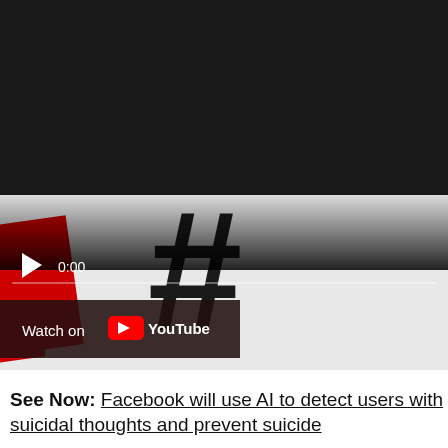[Figure (screenshot): Embedded YouTube video player showing a thumbnail with a hashtag symbol and a smartphone displaying social media apps including YouTube and Instagram. The video player controls show play button, time 0:00, volume, fullscreen, and menu icons. A 'Watch on YouTube' overlay appears at the bottom left of the video.]
See Now: Facebook will use AI to detect users with suicidal thoughts and prevent suicide